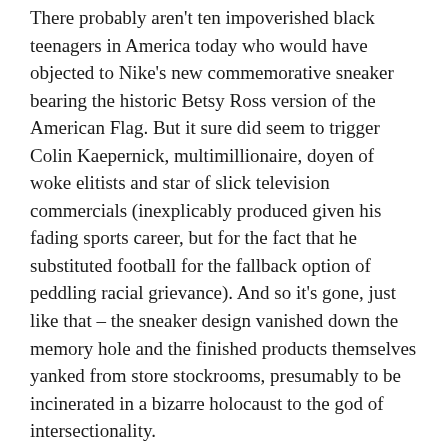There probably aren't ten impoverished black teenagers in America today who would have objected to Nike's new commemorative sneaker bearing the historic Betsy Ross version of the American Flag. But it sure did seem to trigger Colin Kaepernick, multimillionaire, doyen of woke elitists and star of slick television commercials (inexplicably produced given his fading sports career, but for the fact that he substituted football for the fallback option of peddling racial grievance). And so it's gone, just like that – the sneaker design vanished down the memory hole and the finished products themselves yanked from store stockrooms, presumably to be incinerated in a bizarre holocaust to the god of intersectionality.
The same likely applies to being gay, or an ethnic minority. If your daily existence is lived in the rarefied world of academia or working with your mind in the